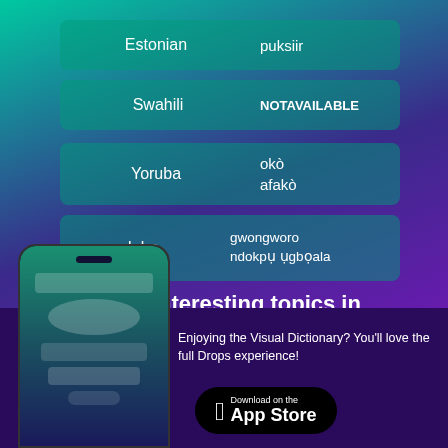[Figure (infographic): Language translation app advertisement showing translations of 'parking lot' in Estonian, Swahili, Yoruba, and Igbo, with Norwegian topic suggestions (Essentials, Airport) and a phone mockup with App Store download button]
Estonian
puksiir
Swahili
NOTAVAILABLE
Yoruba
okò afakò
Igbo
gwongworo ndokpụ ụgbọala
Other interesting topics in Norwegian
Essentials
Airport
Enjoying the Visual Dictionary? You'll love the full Drops experience!
Download on the App Store